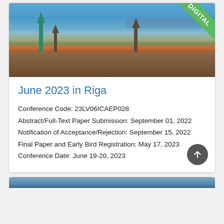[Figure (photo): Aerial panoramic view of Riga city with church spires, historic buildings, and a river with bridge in the background. A green 'DIGITAL' badge is shown in the top-right corner.]
June 2023 in Riga
Conference Code: 23LV06ICAEP028
Abstract/Full-Text Paper Submission: September 01, 2022
Notification of Acceptance/Rejection: September 15, 2022
Final Paper and Early Bird Registration: May 17, 2023
Conference Date: June 19-20, 2023
[Figure (photo): Partial view of another conference listing photo at the bottom of the page.]